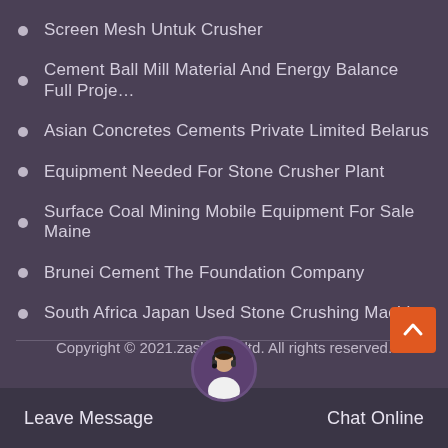Screen Mesh Untuk Crusher
Cement Ball Mill Material And Energy Balance Full Proje…
Asian Concretes Cements Private Limited Belarus
Equipment Needed For Stone Crusher Plant
Surface Coal Mining Mobile Equipment For Sale Maine
Brunei Cement The Foundation Company
South Africa Japan Used Stone Crushing Machine
Copyright © 2021.zash Co., ltd. All rights reserved.
Sitemap
Leave Message   Chat Online